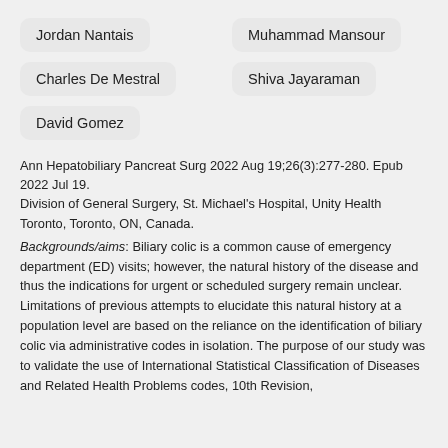Jordan Nantais
Muhammad Mansour
Charles De Mestral
Shiva Jayaraman
David Gomez
Ann Hepatobiliary Pancreat Surg 2022 Aug 19;26(3):277-280. Epub 2022 Jul 19. Division of General Surgery, St. Michael's Hospital, Unity Health Toronto, Toronto, ON, Canada.
Backgrounds/aims: Biliary colic is a common cause of emergency department (ED) visits; however, the natural history of the disease and thus the indications for urgent or scheduled surgery remain unclear. Limitations of previous attempts to elucidate this natural history at a population level are based on the reliance on the identification of biliary colic via administrative codes in isolation. The purpose of our study was to validate the use of International Statistical Classification of Diseases and Related Health Problems codes, 10th Revision,